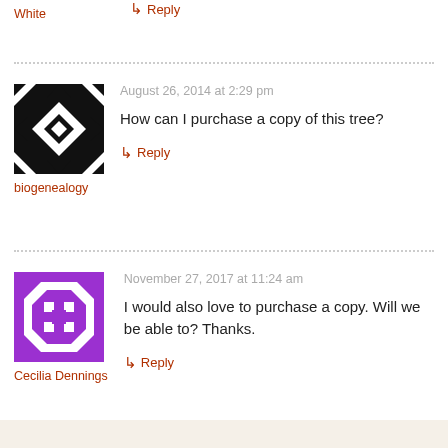White
↳ Reply
[Figure (illustration): Black and white geometric avatar icon for biogenealogy]
August 26, 2014 at 2:29 pm
How can I purchase a copy of this tree?
biogenealogy
↳ Reply
[Figure (illustration): Purple geometric avatar icon for Cecilia Dennings]
November 27, 2017 at 11:24 am
I would also love to purchase a copy. Will we be able to? Thanks.
Cecilia Dennings
↳ Reply